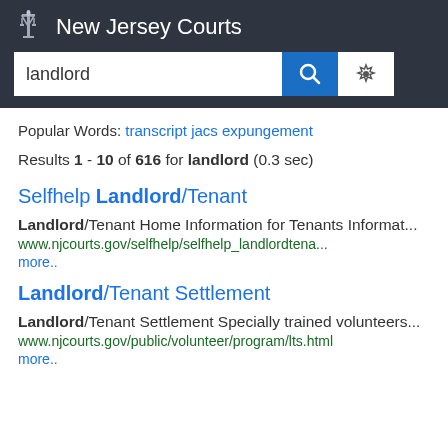[Figure (logo): New Jersey Courts logo with torch/scales icon and white text on dark background, with search bar showing 'landlord' query]
Popular Words: transcript jacs expungement
Results 1 - 10 of 616 for landlord (0.3 sec)
Selfhelp Landlord/Tenant
Landlord/Tenant Home Information for Tenants Informat...
www.njcourts.gov/selfhelp/selfhelp_landlordtena...
more..
Landlord/Tenant Settlement
Landlord/Tenant Settlement Specially trained volunteers...
www.njcourts.gov/public/volunteer/program/lts.html
more..